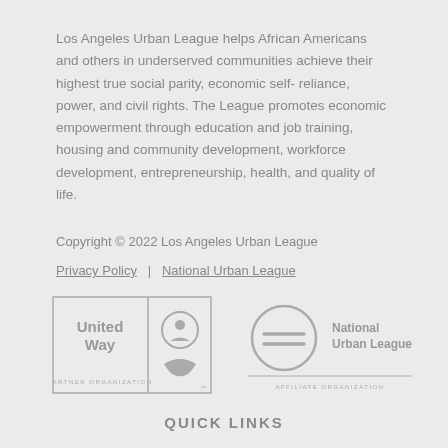Los Angeles Urban League helps African Americans and others in underserved communities achieve their highest true social parity, economic self- reliance, power, and civil rights. The League promotes economic empowerment through education and job training, housing and community development, workforce development, entrepreneurship, health, and quality of life.
Copyright © 2022 Los Angeles Urban League
Privacy Policy  |  National Urban League
[Figure (logo): United Way Partner Organization logo]
[Figure (logo): National Urban League Affiliate Organization logo]
QUICK LINKS